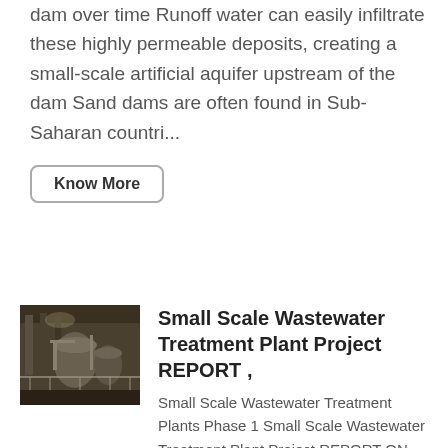dam over time Runoff water can easily infiltrate these highly permeable deposits, creating a small-scale artificial aquifer upstream of the dam Sand dams are often found in Sub-Saharan countri...
Know More
[Figure (photo): Interior photo of a small scale wastewater treatment plant showing industrial machinery and equipment]
Small Scale Wastewater Treatment Plant Project REPORT ,
Small Scale Wastewater Treatment Plants Phase 1 Small Scale Wastewater Treatment Plant Project REPORT ON PROJECT CRITERIA, GUIDELINES AND TECHNOLOGIES July 1999 SOPAC Technical Report 288 The Small